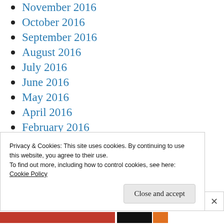November 2016
October 2016
September 2016
August 2016
July 2016
June 2016
May 2016
April 2016
February 2016
January 2016
December 2015
Privacy & Cookies: This site uses cookies. By continuing to use this website, you agree to their use. To find out more, including how to control cookies, see here: Cookie Policy
Close and accept